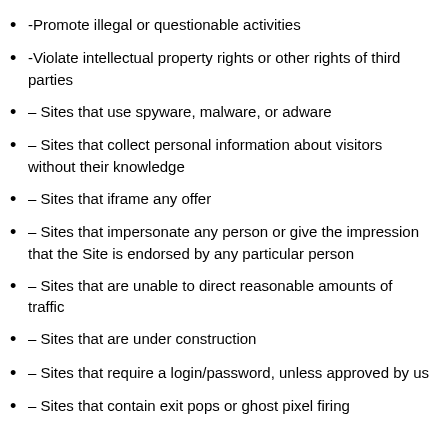-Promote illegal or questionable activities
-Violate intellectual property rights or other rights of third parties
– Sites that use spyware, malware, or adware
– Sites that collect personal information about visitors without their knowledge
– Sites that iframe any offer
– Sites that impersonate any person or give the impression that the Site is endorsed by any particular person
– Sites that are unable to direct reasonable amounts of traffic
– Sites that are under construction
– Sites that require a login/password, unless approved by us
– Sites that contain exit pops or ghost pixel firing